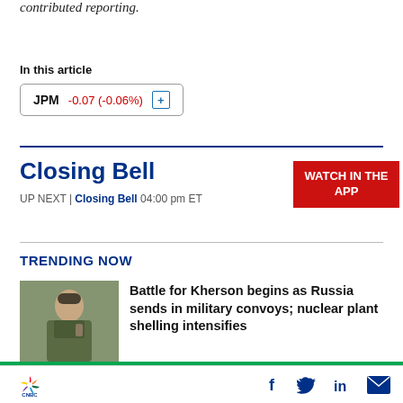contributed reporting.
In this article
JPM  -0.07 (-0.06%)
Closing Bell
WATCH IN THE APP
UP NEXT | Closing Bell 04:00 pm ET
TRENDING NOW
[Figure (photo): Soldier in military uniform holding a radio device, outdoors]
Battle for Kherson begins as Russia sends in military convoys; nuclear plant shelling intensifies
CNBC logo with social media icons: Facebook, Twitter, LinkedIn, Email